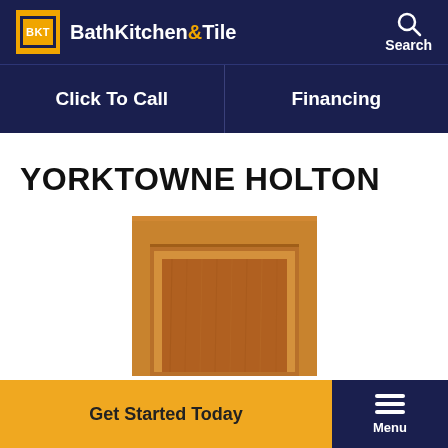BathKitchen&Tile — Search
[Figure (screenshot): Website navigation with Click To Call and Financing options]
YORKTOWNE HOLTON
[Figure (photo): Yorktowne Holton cabinet door sample in warm brown wood finish, showing raised panel construction]
Get Started Today | Menu